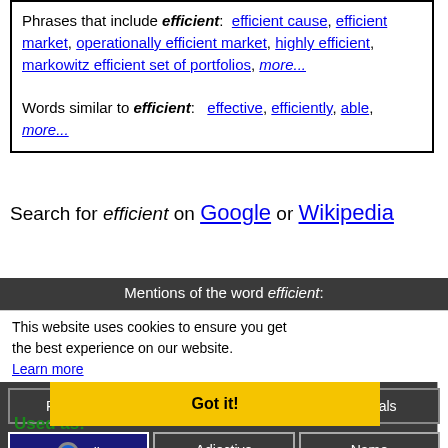Phrases that include efficient: efficient cause, efficient market, operationally efficient market, highly efficient, markowitz efficient set of portfolios, more...

Words similar to efficient: effective, efficiently, able, more...
Search for efficient on Google or Wikipedia
Mentions of the word efficient:
Used in:
This website uses cookies to ensure you get the best experience on our website. Learn more
Got it!
Used as:
All  Adjective  Name